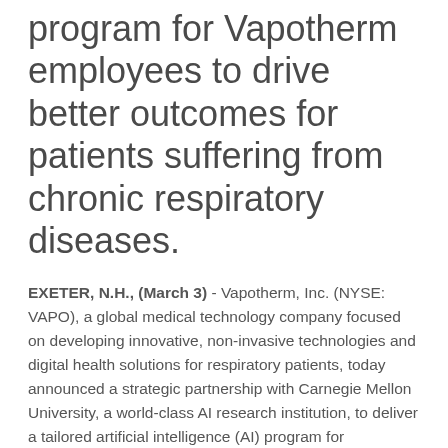program for Vapotherm employees to drive better outcomes for patients suffering from chronic respiratory diseases.
EXETER, N.H., (March 3) - Vapotherm, Inc. (NYSE: VAPO), a global medical technology company focused on developing innovative, non-invasive technologies and digital health solutions for respiratory patients, today announced a strategic partnership with Carnegie Mellon University, a world-class AI research institution, to deliver a tailored artificial intelligence (AI) program for Vapotherm employees.
The aim of the AI program, named Vapotherm AI for Business, is to tap into Carnegie Mellon's AI expertise to provide a customized training program for Vapotherm